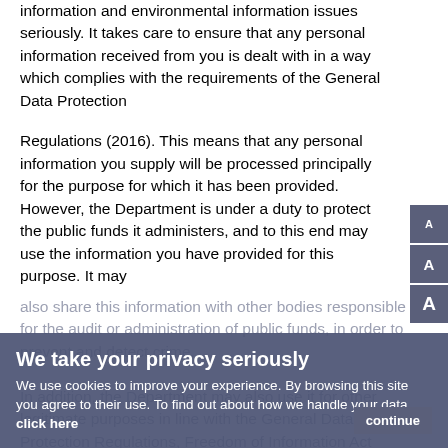information and environmental information issues seriously. It takes care to ensure that any personal information received from you is dealt with in a way which complies with the requirements of the General Data Protection
Regulations (2016). This means that any personal information you supply will be processed principally for the purpose for which it has been provided. However, the Department is under a duty to protect the public funds it administers, and to this end may use the information you have provided for this purpose. It may also share this information with other bodies responsible for the audit or administration of public funds, in order to prevent and detect crime.
In addition, the Department may also use it for other legitimate purposes in line with the General Data Protection Regulations, Freedom of Information Act 2000 and Environmental Information Regulations 2004.
We take your privacy seriously
We use cookies to improve your experience. By browsing this site you agree to their use. To find out about how we handle your data click here